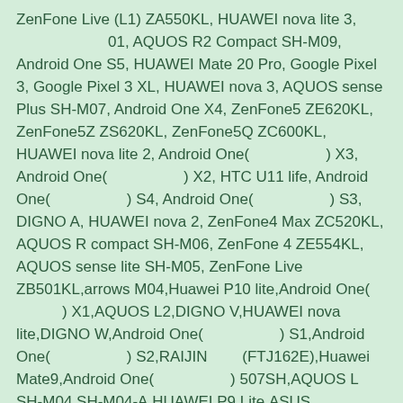ZenFone Live (L1) ZA550KL, HUAWEI nova lite 3, 　　　　01, AQUOS R2 Compact SH-M09, Android One S5, HUAWEI Mate 20 Pro, Google Pixel 3, Google Pixel 3 XL, HUAWEI nova 3, AQUOS sense Plus SH-M07, Android One X4, ZenFone5 ZE620KL, ZenFone5Z ZS620KL, ZenFone5Q ZC600KL, HUAWEI nova lite 2, Android One(　　　　　) X3, Android One(　　　　　) X2, HTC U11 life, Android One(　　　　　) S4, Android One(　　　　　) S3, DIGNO A, HUAWEI nova 2, ZenFone4 Max ZC520KL, AQUOS R compact SH-M06, ZenFone 4 ZE554KL, AQUOS sense lite SH-M05, ZenFone Live ZB501KL,arrows M04,Huawei P10 lite,Android One(　　　　) X1,AQUOS L2,DIGNO V,HUAWEI nova lite,DIGNO W,Android One(　　　　　) S1,Android One(　　　　　) S2,RAIJIN　　 (FTJ162E),Huawei Mate9,Android One(　　　　　) 507SH,AQUOS L SH-M04 SH-M04-A,HUAWEI P9 Lite,ASUS ZenFone3(ZE520KL),ASUS ZenFone3(ZE552KL),AQUOS mini SH-M03,arrows M03,DIGNO E 503KC,Zenfone GO(ZB551KL),Arrows RM02/M02.